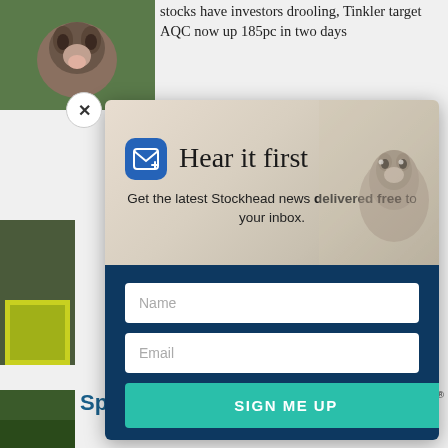stocks have investors drooling, Tinkler target AQC now up 185pc in two days
[Figure (screenshot): A newsletter signup modal popup overlay on a news website. The modal has an upper section with a beige/tan background showing a groundhog/prairie dog image on the right, a blue mail icon, and the text 'Hear it first' with subtitle 'Get the latest Stockhead news delivered free to your inbox.' The lower section has a dark navy blue background with a Name input field, an Email input field, and a teal 'SIGN ME UP' button. A close (X) button appears at the top-left of the modal.]
Sp
mi